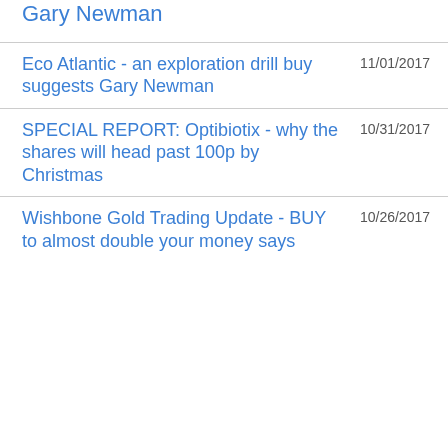Gary Newman
Eco Atlantic - an exploration drill buy suggests Gary Newman
SPECIAL REPORT: Optibiotix - why the shares will head past 100p by Christmas
Wishbone Gold Trading Update - BUY to almost double your money says